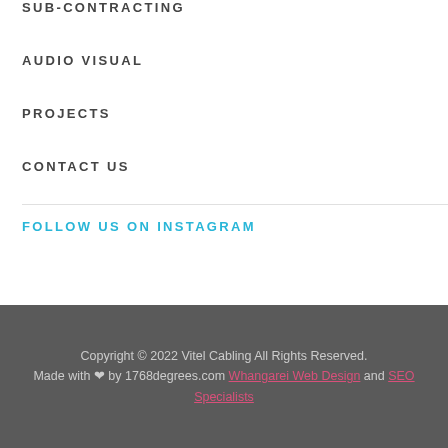SUB-CONTRACTING
AUDIO VISUAL
PROJECTS
CONTACT US
FOLLOW US ON INSTAGRAM
Copyright © 2022 Vitel Cabling All Rights Reserved. Made with ♥ by 1768degrees.com Whangarei Web Design and SEO Specialists